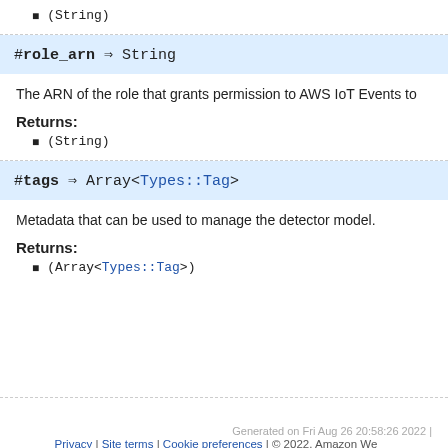(String)
#role_arn ⇒ String
The ARN of the role that grants permission to AWS IoT Events to
Returns:
(String)
#tags ⇒ Array<Types::Tag>
Metadata that can be used to manage the detector model.
Returns:
(Array<Types::Tag>)
Generated on Fri Aug 26 20:58:26 2022 | Privacy | Site terms | Cookie preferences | © 2022, Amazon We